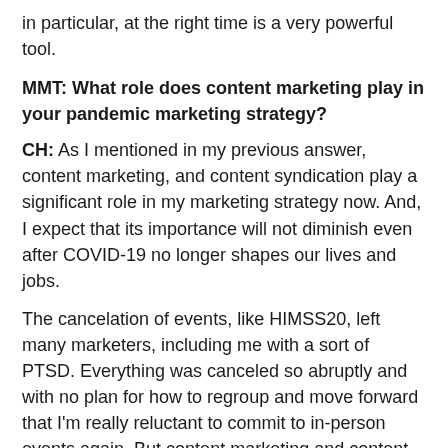in particular, at the right time is a very powerful tool.
MMT: What role does content marketing play in your pandemic marketing strategy?
CH: As I mentioned in my previous answer, content marketing, and content syndication play a significant role in my marketing strategy now. And, I expect that its importance will not diminish even after COVID-19 no longer shapes our lives and jobs.
The cancelation of events, like HIMSS20, left many marketers, including me with a sort of PTSD. Everything was canceled so abruptly and with no plan for how to regroup and move forward that I'm really reluctant to commit to in-person events again. But content marketing and content syndication give me an opportunity to consistently engage with my customers and prospects and share content with them that's tailored to where they are on